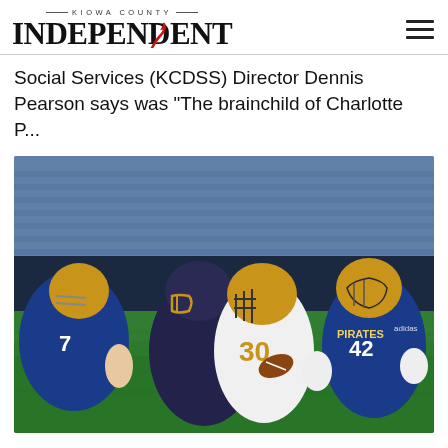KIOWA COUNTY INDEPENDENT
Social Services (KCDSS) Director Dennis Pearson says was “The brainchild of Charlotte P…
[Figure (photo): Football game action photo showing players in blue and gold uniforms (Pirates, #42, #20) tackling a ball carrier wearing a white jersey with gold helmet, taken at night under stadium lights on a green grass field.]